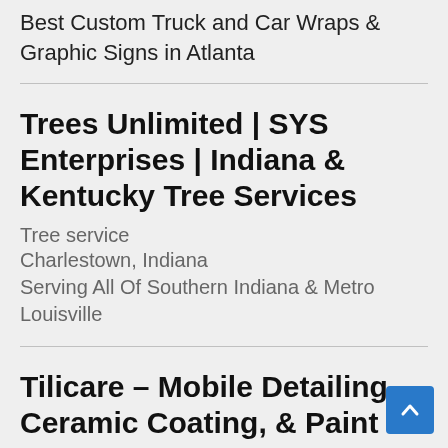Best Custom Truck and Car Wraps & Graphic Signs in Atlanta
Trees Unlimited | SYS Enterprises | Indiana & Kentucky Tree Services
Tree service
Charlestown, Indiana
Serving All Of Southern Indiana & Metro Louisville
Tilicare – Mobile Detailing, Ceramic Coating, & Paint